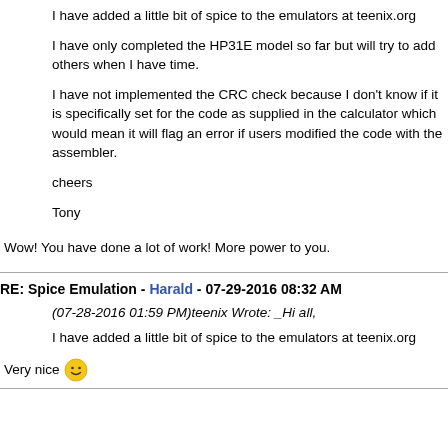I have added a little bit of spice to the emulators at teenix.org
I have only completed the HP31E model so far but will try to add others when I have time.
I have not implemented the CRC check because I don't know if it is specifically set for the code as supplied in the calculator which would mean it will flag an error if users modified the code with the assembler.
cheers
Tony
Wow! You have done a lot of work! More power to you.
RE: Spice Emulation - Harald - 07-29-2016 08:32 AM
(07-28-2016 01:59 PM)teenix Wrote: _Hi all,
I have added a little bit of spice to the emulators at teenix.org
Very nice 😊